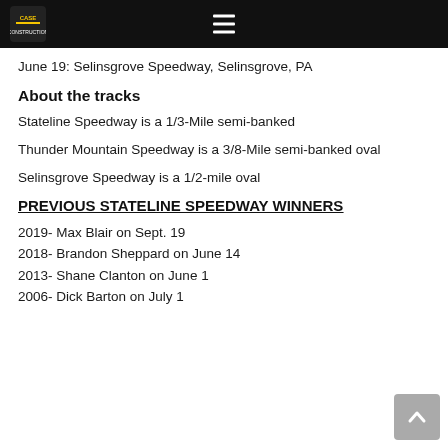CASE Construction Equipment (logo) ≡
June 19: Selinsgrove Speedway, Selinsgrove, PA
About the tracks
Stateline Speedway is a 1/3-Mile semi-banked
Thunder Mountain Speedway is a 3/8-Mile semi-banked oval
Selinsgrove Speedway is a 1/2-mile oval
PREVIOUS STATELINE SPEEDWAY WINNERS
2019- Max Blair on Sept. 19
2018- Brandon Sheppard on June 14
2013- Shane Clanton on June 1
2006- Dick Barton on July 1